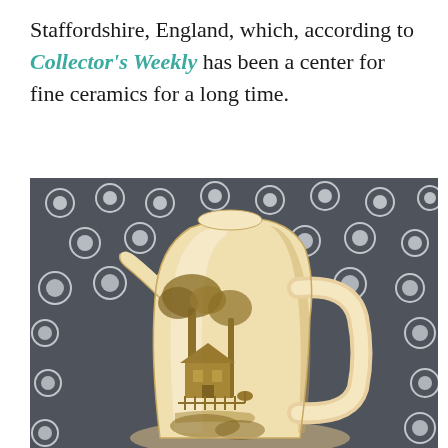Staffordshire, England, which, according to Collector's Weekly has been a center for fine ceramics for a long time.
[Figure (photo): A cream-colored ceramic pitcher/jug with a brown transferware pastoral scene depicting a cottage, trees, and figures, photographed against a white lace fabric background.]